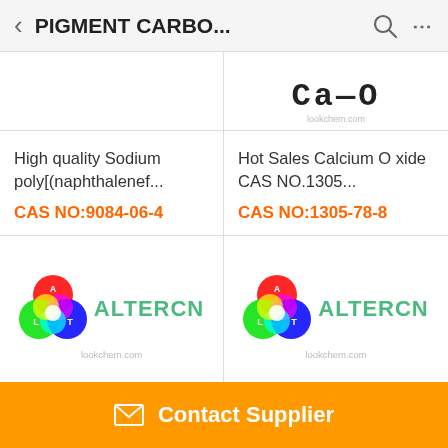PIGMENT CARBO...
[Figure (logo): Partial product image top-left card (cropped at top)]
[Figure (logo): Partial CaO chemical structure image top-right card with lookchem.com watermark]
High quality Sodium poly[(naphthalenef...
CAS NO:9084-06-4
Hot Sales Calcium Oxide CAS NO.1305...
CAS NO:1305-78-8
[Figure (logo): ALTERCN logo with RGB color circles and lookchem.com text]
[Figure (logo): ALTERCN logo with RGB color circles and lookchem.com text]
Contact Supplier